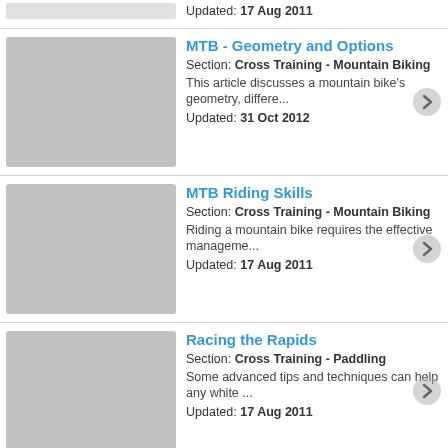Updated: 17 Aug 2011
MTB - Geometry and Options | Section: Cross Training - Mountain Biking | This article discusses a mountain bike's geometry, differe... | Updated: 31 Oct 2012
MTB Riding Skills | Section: Cross Training - Mountain Biking | Riding a mountain bike requires the effective manageme... | Updated: 17 Aug 2011
Racing the Rapids | Section: Cross Training - Paddling | Some advanced tips and techniques can help any white ... | Updated: 17 Aug 2011
Strength Training | Section: Cross Training - Strength & Flexibility | This article focuses on the importance of strength training... | Updated: 01 Nov 2012
Yoga | Section: Cross Training - Strength & Flexibility | The therapeutic benefits of yoga have made it increasingl...